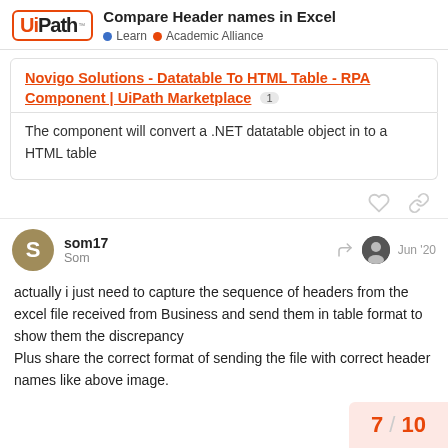UiPath — Compare Header names in Excel | Learn • Academic Alliance
Novigo Solutions - Datatable To HTML Table - RPA Component | UiPath Marketplace
The component will convert a .NET datatable object in to a HTML table
som17
Som
Jun '20
actually i just need to capture the sequence of headers from the excel file received from Business and send them in table format to show them the discrepancy
Plus share the correct format of sending the file with correct header names like above image.
7 / 10